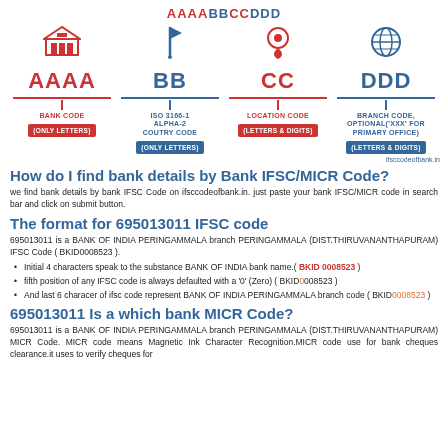AAAABBCCDDD
[Figure (infographic): IFSC code structure diagram showing four components: AAAA (Bank Code, only letters), BB (ISO 3166-1 Alpha-2 Country Code, only letters), CC (Location Code, letters & digits), DDD (Branch Code, optional 'XXX' for primary office, letters & digits). Each component has an icon (bank building, flag, location pin, globe), colored label, horizontal line with tick, description, and badge.]
ifsccodeofbank.in
How do I find bank details by Bank IFSC/MICR Code?
we find bank details by bank IFSC Code on ifsccodeofbank.in. just paste your bank IFSC/MICR code in search bar and click on submit button.
The format for 695013011 IFSC code
695013011 is a BANK OF INDIA PERINGAMMALA branch PERINGAMMALA (DIST.THIRUVANANTHAPURAM) IFSC Code ( BKID0008523 ).
Initial 4 characters speak to the substance BANK OF INDIA bank name.( BKID 0008523 )
fifth position of any IFSC code is always defaulted with a '0' (Zero) ( BKID0008523 )
And last 6 characer of ifsc code represent BANK OF INDIA PERINGAMMALA branch code ( BKID0008523 )
695013011 Is a which bank MICR Code?
695013011 is a BANK OF INDIA PERINGAMMALA branch PERINGAMMALA (DIST.THIRUVANANTHAPURAM) MICR Code. MICR code means Magnetic Ink Character Recognition.MICR code use for bank cheques clearance.it uses to verify cheques for